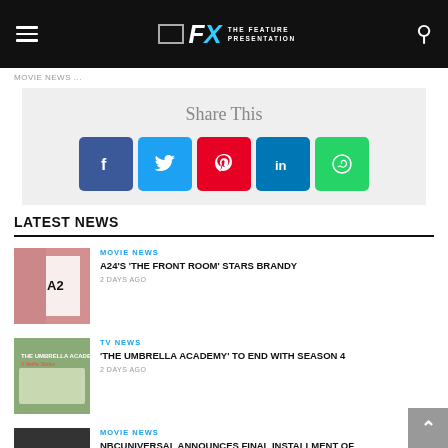The Feature Presentation
MOVIE NEWS...
Share This
LATEST NEWS
MOVIE NEWS
A24'S 'THE FRONT ROOM' STARS BRANDY
2 DAYS AGO
TV NEWS
'THE UMBRELLA ACADEMY' TO END WITH SEASON 4
2 DAYS AGO
MOVIE NEWS
NBCUNIVERSAL ANNOUNCES FINAL INSTALLMENT OF LATEST